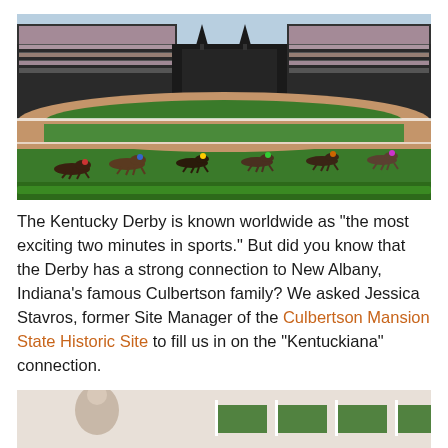[Figure (photo): Aerial/wide view of Churchill Downs racetrack with grandstands packed with spectators and horses racing on the track]
The Kentucky Derby is known worldwide as "the most exciting two minutes in sports." But did you know that the Derby has a strong connection to New Albany, Indiana's famous Culbertson family? We asked Jessica Stavros, former Site Manager of the Culbertson Mansion State Historic Site to fill us in on the "Kentuckiana" connection.
[Figure (photo): Bottom portion of a photo, partially visible, showing what appears to be a person at a racetrack]